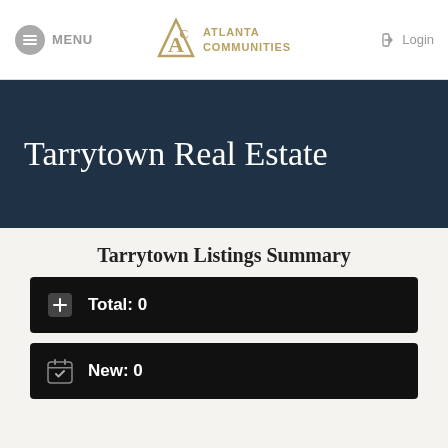MENU | Atlanta Communities | Login
Tarrytown Real Estate
Tarrytown Listings Summary
Total: 0
New: 0